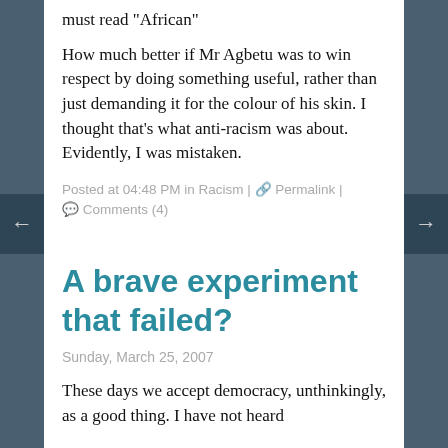must read "African"
How much better if Mr Agbetu was to win respect by doing something useful, rather than just demanding it for the colour of his skin. I thought that's what anti-racism was about. Evidently, I was mistaken.
Posted at 04:48 PM in Racism | 🔗 Permalink | 💬 Comments (4)
A brave experiment that failed?
Sunday, March 25, 2007
These days we accept democracy, unthinkingly, as a good thing. I have not heard